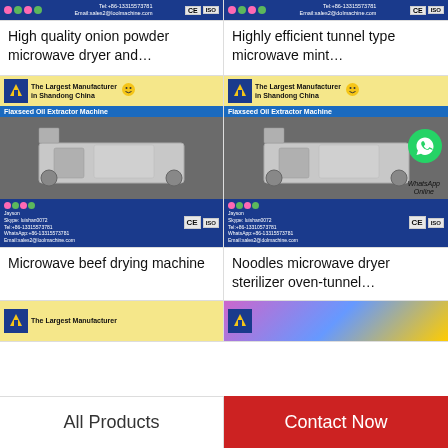[Figure (photo): Product listing image for onion powder microwave dryer - shows machine with manufacturer contact banner]
High quality onion powder microwave dryer and…
[Figure (photo): Product listing image for tunnel type microwave mint dryer - shows machine with manufacturer contact banner]
Highly efficient tunnel type microwave mint…
[Figure (photo): Flaxseed Oil Extractor Machine - The Largest Manufacturer in Shandong China banner, machine photo]
Microwave beef drying machine
[Figure (photo): Flaxseed Oil Extractor Machine - same machine with WhatsApp Online overlay]
Noodles microwave dryer sterilizer oven-tunnel…
[Figure (photo): Partial product image - The Largest Manufacturer banner visible]
[Figure (photo): Partial product image - colorful banner visible]
All Products
Contact Now